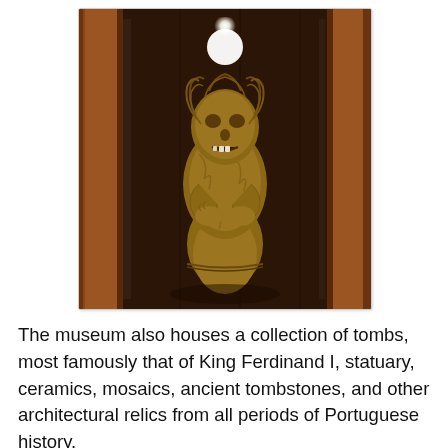[Figure (photo): A mummified human figure displayed inside a wooden glass cabinet. The mummy appears to be in a seated/crouched position with dried, leathery skin and preserved hair. The cabinet has dark wooden frames and glass panels.]
The museum also houses a collection of tombs, most famously that of King Ferdinand I, statuary, ceramics, mosaics, ancient tombstones, and other architectural relics from all periods of Portuguese history.